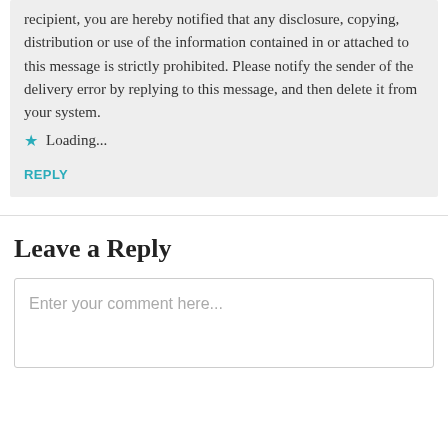recipient, you are hereby notified that any disclosure, copying, distribution or use of the information contained in or attached to this message is strictly prohibited. Please notify the sender of the delivery error by replying to this message, and then delete it from your system.
Loading...
REPLY
Leave a Reply
Enter your comment here...